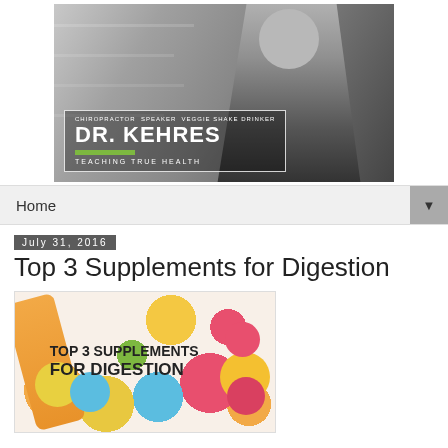[Figure (photo): Black and white photo of Dr. Kehres in a suit on stairs, with overlay text box showing 'CHIROPRACTOR SPEAKER VEGGIE SHAKE DRINKER / DR. KEHRES / TEACHING TRUE HEALTH']
Home
July 31, 2016
Top 3 Supplements for Digestion
[Figure (illustration): Colorful candy/supplement pills in background with text overlay 'TOP 3 SUPPLEMENTS FOR DIGESTION' in bold black font]